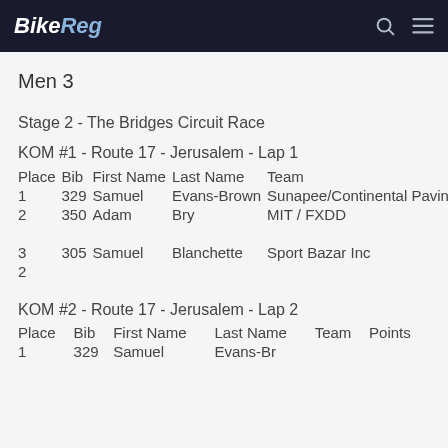BikeReg
Men 3
Stage 2 - The Bridges Circuit Race
KOM #1 - Route 17 - Jerusalem - Lap 1
| Place | Bib | First Name | Last Name | Team | Points |
| --- | --- | --- | --- | --- | --- |
| 1 | 329 | Samuel | Evans-Brown | Sunapee/Continental Paving/Revolution6 |  |
| 2 | 350 | Adam | Bry | MIT / FXDD | 4 |
| 3 | 305 | Samuel | Blanchette | Sport Bazar Inc | 2 |
KOM #2 - Route 17 - Jerusalem - Lap 2
| Place | Bib | First Name | Last Name | Team | Points |
| --- | --- | --- | --- | --- | --- |
| 1 | 329 | Samuel | Evans-Brown |  |  |